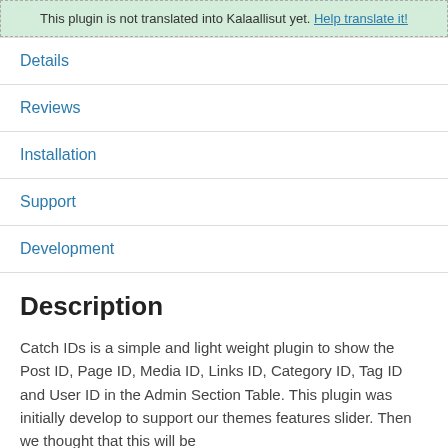This plugin is not translated into Kalaallisut yet. Help translate it!
Details
Reviews
Installation
Support
Development
Description
Catch IDs is a simple and light weight plugin to show the Post ID, Page ID, Media ID, Links ID, Category ID, Tag ID and User ID in the Admin Section Table. This plugin was initially develop to support our themes features slider. Then we thought that this will be